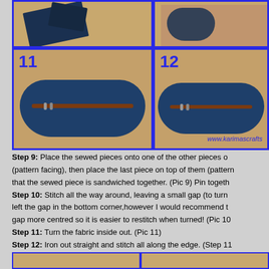[Figure (photo): Photo grid showing steps 11 and 12 of a sewing tutorial. Top row shows two partial photos. Bottom row shows step 11 (fabric tube turned inside out with zipper) and step 12 (finished zipper pouch, ironed flat). Website watermark: www.karimascrafts]
Step 9: Place the sewed pieces onto one of the other pieces (pattern facing), then place the last piece on top of them (pattern so that the sewed piece is sandwiched together. (Pic 9) Pin together Step 10: Stitch all the way around, leaving a small gap (to turn left the gap in the bottom corner,however I would recommend t gap more centred so it is easier to restitch when turned! (Pic 10 Step 11: Turn the fabric inside out. (Pic 11) Step 12: Iron out straight and stitch all along the edge. (Step 11